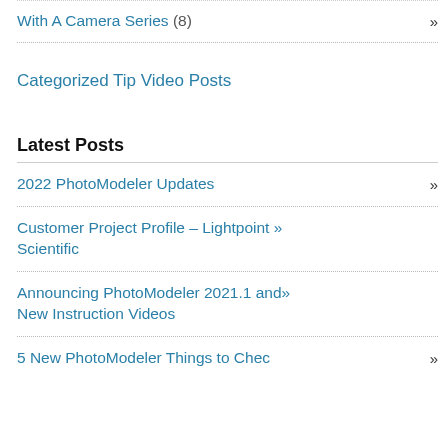With A Camera Series (8) »
Categorized Tip Video Posts
Latest Posts
2022 PhotoModeler Updates »
Customer Project Profile – Lightpoint Scientific »
Announcing PhotoModeler 2021.1 and New Instruction Videos »
5 New PhotoModeler Things to Chec... »